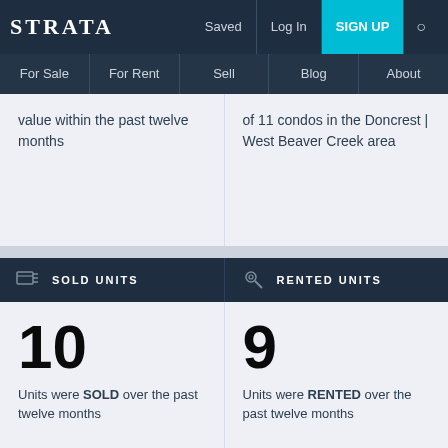STRATA | Saved | Log In | SIGN UP
For Sale | For Rent | Sell | Blog | About
value within the past twelve months
of 11 condos in the Doncrest | West Beaver Creek area
SOLD UNITS
RENTED UNITS
10
Units were SOLD over the past twelve months
9
Units were RENTED over the past twelve months